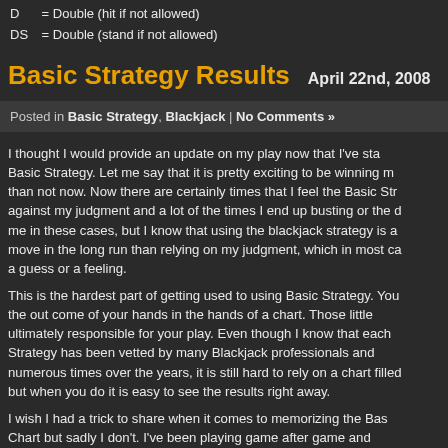D = Double (hit if not allowed)
DS = Double (stand if not allowed)
Basic Strategy Results  April 22nd, 2008
Posted in Basic Strategy, Blackjack | No Comments »
I thought I would provide an update on my play now that I've sta... Basic Strategy. Let me say that it is pretty exciting to be winning more than not now. Now there are certainly times that I feel the Basic Stra... against my judgment and a lot of the times I end up busting or the de... me in these cases, but I know that using the blackjack strategy is a... move in the long run than relying on my judgment, which in most ca... a guess or a feeling.
This is the hardest part of getting used to using Basic Strategy. You... the out come of your hands in the hands of a chart. Those little... ultimately responsible for your play. Even though I know that each... Strategy has been vetted by many Blackjack professionals and... numerous times over the years, it is still hard to rely on a chart filled... but when you do it is easy to see the results right away.
I wish I had a trick to share when it comes to memorizing the Bas... Chart but sadly I don't. I've been playing game after game and...